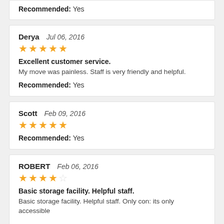Recommended: Yes
Derya   Jul 06, 2016
★★★★★
Excellent customer service.
My move was painless. Staff is very friendly and helpful.
Recommended: Yes
Scott   Feb 09, 2016
★★★★★
Recommended: Yes
ROBERT   Feb 06, 2016
★★★★☆
Basic storage facility. Helpful staff.
Basic storage facility. Helpful staff. Only con: its only accessible